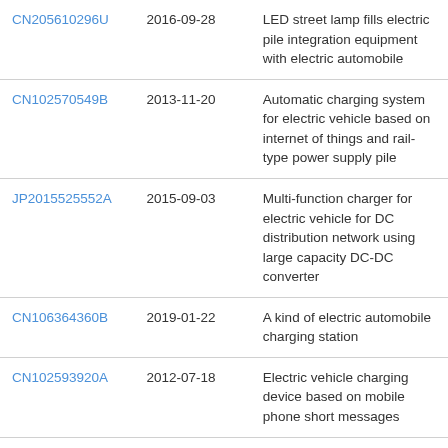| CN205610296U | 2016-09-28 | LED street lamp fills electric pile integration equipment with electric automobile |
| CN102570549B | 2013-11-20 | Automatic charging system for electric vehicle based on internet of things and rail-type power supply pile |
| JP2015525552A | 2015-09-03 | Multi-function charger for electric vehicle for DC distribution network using large capacity DC-DC converter |
| CN106364360B | 2019-01-22 | A kind of electric automobile charging station |
| CN102593920A | 2012-07-18 | Electric vehicle charging device based on mobile phone short messages |
| CN107187327A | 2017-09-22 | A kind of electric vehicle alternating-current charging pile system |